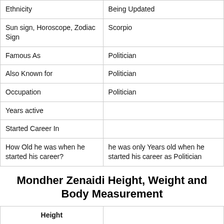| Ethnicity | Being Updated |
| Sun sign, Horoscope, Zodiac Sign | Scorpio |
| Famous As | Politician |
| Also Known for | Politician |
| Occupation | Politician |
| Years active |  |
| Started Career In |  |
| How Old he was when he started his career? | he was only Years old when he started his career as Politician |
Mondher Zenaidi Height, Weight and Body Measurement
| Height |  |
| Weight | Not Known |